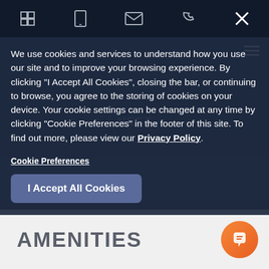[Figure (screenshot): Dark background photo of outdoor lounge furniture with cushions and pillows in navy/charcoal tones, serving as website hero image. Navigation icons visible at top.]
We use cookies and services to understand how you use our site and to improve your browsing experience. By clicking "I Accept All Cookies", closing the bar, or continuing to browse, you agree to the storing of cookies on your device. Your cookie settings can be changed at any time by clicking "Cookie Preferences" in the footer of this site. To find out more, please view our Privacy Policy.
Cookie Preferences
I Accept All Cookies
AMENITIES